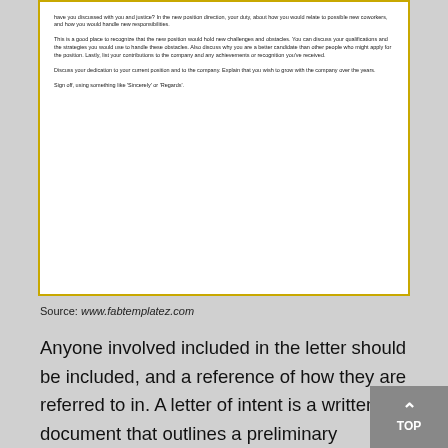[Figure (screenshot): A document template screenshot with gold border showing letter writing guidance text including paragraphs about new position, qualifications, dedication, and sign-off instructions.]
Source: www.fabtemplatez.com
Anyone involved included in the letter should be included, and a reference of how they are referred to in. A letter of intent is a written document that outlines a preliminary agreement between two parties regarding the terms of a potential